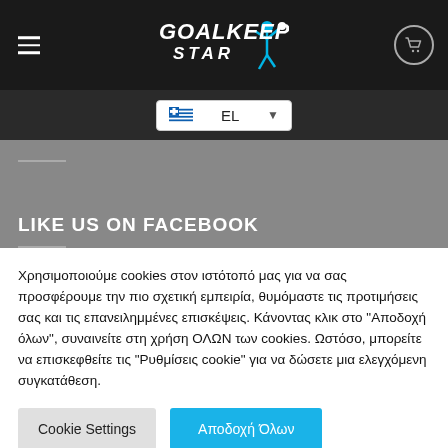[Figure (screenshot): Dark thumbnail image at top-left corner]
GOALKEEPER STAR — navigation header with hamburger menu and cart icon
EL — Language selector dropdown
LIKE US ON FACEBOOK
Χρησιμοποιούμε cookies στον ιστότοπό μας για να σας προσφέρουμε την πιο σχετική εμπειρία, θυμόμαστε τις προτιμήσεις σας και τις επανειλημμένες επισκέψεις. Κάνοντας κλικ στο "Αποδοχή όλων", συναινείτε στη χρήση ΟΛΩΝ των cookies. Ωστόσο, μπορείτε να επισκεφθείτε τις "Ρυθμίσεις cookie" για να δώσετε μια ελεγχόμενη συγκατάθεση.
Cookie Settings | Αποδοχή Όλων